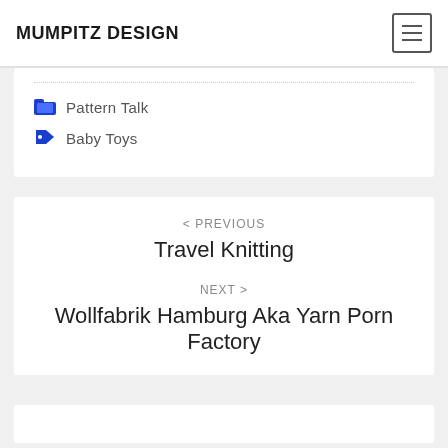MUMPITZ DESIGN
Pattern Talk
Baby Toys
< PREVIOUS
Travel Knitting
NEXT >
Wollfabrik Hamburg Aka Yarn Porn Factory